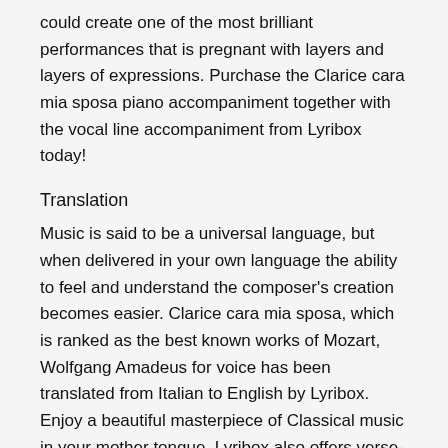could create one of the most brilliant performances that is pregnant with layers and layers of expressions. Purchase the Clarice cara mia sposa piano accompaniment together with the vocal line accompaniment from Lyribox today!
Translation
Music is said to be a universal language, but when delivered in your own language the ability to feel and understand the composer's creation becomes easier. Clarice cara mia sposa, which is ranked as the best known works of Mozart, Wolfgang Amadeus for voice has been translated from Italian to English by Lyribox. Enjoy a beautiful masterpiece of Classical music in your mother tongue. Lyribox also offers verse-to-verse translation and Ipa translation. These music translations are perfect for music schools, students learning classical music and anyone who has a passion for classical western music. Now you can reserve your by Mozart, Wolfgang Amadeus translation for the lowest price in the market, if your purchase it from this premium platform. Besides Lyribox has also provided you with two French audio text files of Clarice cara mia sposa. One with a normal tempo and the other with a bit slowed version. Based